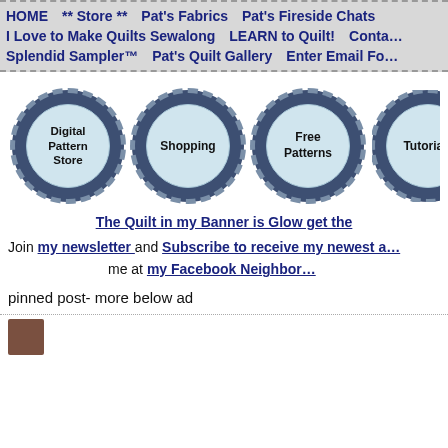HOME  ** Store **  Pat's Fabrics  Pat's Fireside Chats  I Love to Make Quilts Sewalong  LEARN to Quilt!  Conta…  Splendid Sampler™  Pat's Quilt Gallery  Enter Email Fo…
[Figure (illustration): Four circular badge buttons with scalloped edges on dark blue background showing: Digital Pattern Store, Shopping, Free Patterns, Tutorials (partially cut off)]
The Quilt in my Banner is Glow get the
Join my newsletter  and Subscribe to receive my newest a… me at my Facebook Neighbor…
pinned post- more below ad